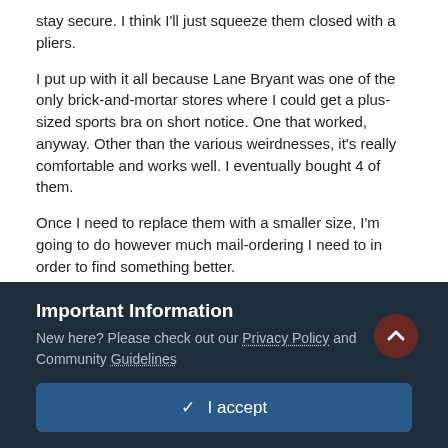stay secure.  I think I'll just squeeze them closed with a pliers.

I put up with it all because Lane Bryant was one of the only brick-and-mortar stores where I could get a plus-sized sports bra on short notice.  One that worked, anyway.  Other than the various weirdnesses, it's really comfortable and works well.  I eventually bought 4 of them.

Once I need to replace them with a smaller size, I'm going to do however much mail-ordering I need to in order to find something better.
Lane Bryant "activewear" is pretty much a joke anyway.  Maybe I should start a thread on plus-sized activewear.
Quote   ♥ 3
Important Information
New here? Please check out our Privacy Policy and Community Guidelines
✓  I accept